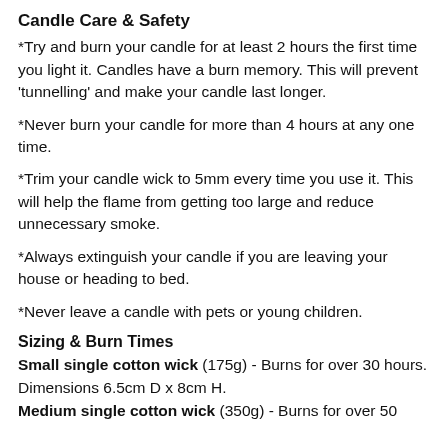Candle Care & Safety
*Try and burn your candle for at least 2 hours the first time you light it. Candles have a burn memory. This will prevent 'tunnelling' and make your candle last longer.
*Never burn your candle for more than 4 hours at any one time.
*Trim your candle wick to 5mm every time you use it. This will help the flame from getting too large and reduce unnecessary smoke.
*Always extinguish your candle if you are leaving your house or heading to bed.
*Never leave a candle with pets or young children.
Sizing & Burn Times
Small single cotton wick (175g) - Burns for over 30 hours. Dimensions 6.5cm D x 8cm H.
Medium single cotton wick (350g) - Burns for over 50...